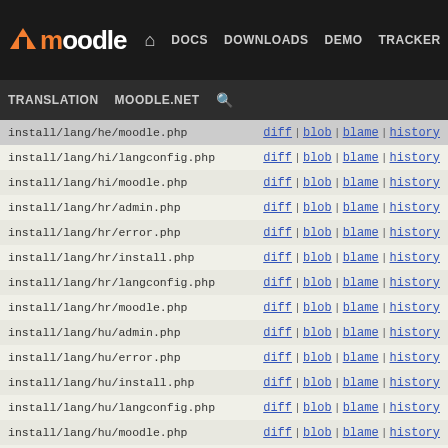Moodle DOCS DOWNLOADS DEMO TRACKER DEV
TRANSLATION MOODLE.NET [search]
install/lang/he/moodle.php  diff | blob | blame | history
install/lang/hi/langconfig.php  diff | blob | blame | history
install/lang/hi/moodle.php  diff | blob | blame | history
install/lang/hr/admin.php  diff | blob | blame | history
install/lang/hr/error.php  diff | blob | blame | history
install/lang/hr/install.php  diff | blob | blame | history
install/lang/hr/langconfig.php  diff | blob | blame | history
install/lang/hr/moodle.php  diff | blob | blame | history
install/lang/hu/admin.php  diff | blob | blame | history
install/lang/hu/error.php  diff | blob | blame | history
install/lang/hu/install.php  diff | blob | blame | history
install/lang/hu/langconfig.php  diff | blob | blame | history
install/lang/hu/moodle.php  diff | blob | blame | history
install/lang/hy/admin.php  diff | blob | blame | history
install/lang/hy/error.php  diff | blob | blame | history
install/lang/hy/install.php  diff | blob | blame | history
install/lang/hy/langconfig.php  diff | blob | blame | history
install/lang/hy/moodle.php  diff | blob | blame | history
install/lang/id/langconfig.php  diff | blob | blame | history
install/lang/id/moodle.php  diff | blob | blame | history
install/lang/is/admin.php  diff | blob | blame | history